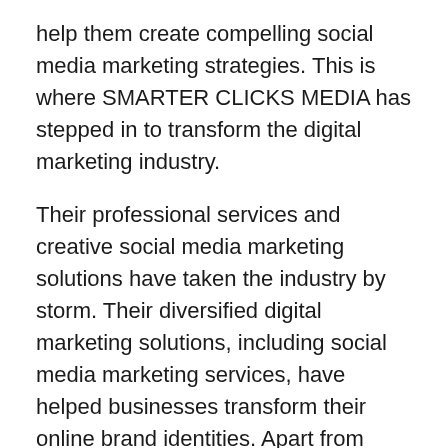help them create compelling social media marketing strategies. This is where SMARTER CLICKS MEDIA has stepped in to transform the digital marketing industry.
Their professional services and creative social media marketing solutions have taken the industry by storm. Their diversified digital marketing solutions, including social media marketing services, have helped businesses transform their online brand identities. Apart from social media marketing services, they also provide web designing, ads management, and web development services.
Speaking about their social media marketing services, a company representative said, “As we all know, social media usage is increasing every day. Companies are often looking for quality social media marketing solutions to help them drive traffic to their websites. Our quality SMM solutions are one of